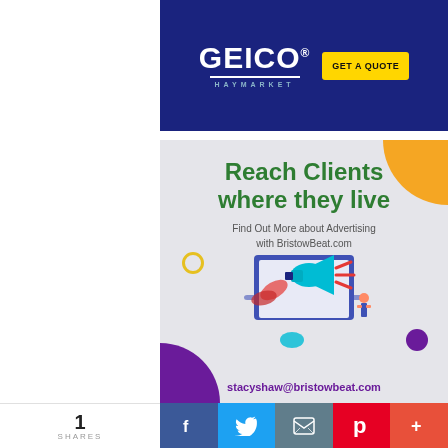[Figure (illustration): GEICO Haymarket advertisement banner with blue background, GEICO logo, HAYMARKET text, and yellow GET A QUOTE button]
[Figure (illustration): BristowBeat.com advertising promotional banner with green bold text 'Reach Clients where they live', laptop with megaphone illustration, decorative blobs, and contact email stacyshaw@bristowbeat.com]
1 SHARES
[Figure (infographic): Social share bar with Facebook, Twitter, email, Pinterest, and more buttons]